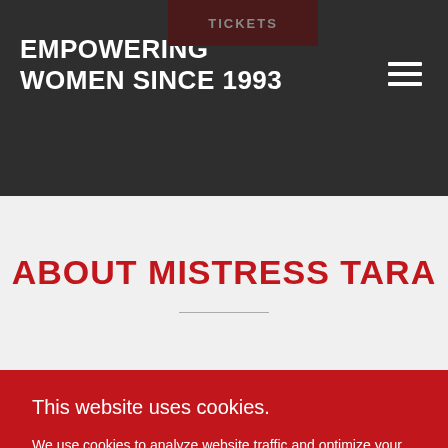EMPOWERING WOMEN SINCE 1993
ABOUT MISTRESS TARA
This website uses cookies.
We use cookies to analyze website traffic and optimize your website experience. By accepting our use of cookies, your data will be aggregated with all other user data.
ACCEPT